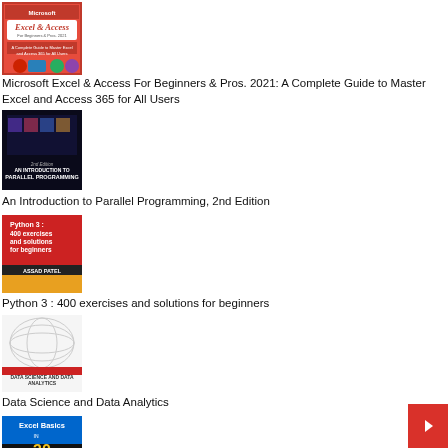[Figure (illustration): Book cover: Microsoft Excel & Access For Beginners & Pros. 2021]
Microsoft Excel & Access For Beginners & Pros. 2021: A Complete Guide to Master Excel and Access 365 for All Users
[Figure (illustration): Book cover: An Introduction to Parallel Programming, 2nd Edition]
An Introduction to Parallel Programming, 2nd Edition
[Figure (illustration): Book cover: Python 3 : 400 exercises and solutions for beginners]
Python 3 : 400 exercises and solutions for beginners
[Figure (illustration): Book cover: Data Science and Data Analytics]
Data Science and Data Analytics
[Figure (illustration): Book cover: Excel Basics in 30 Minutes (partially visible)]